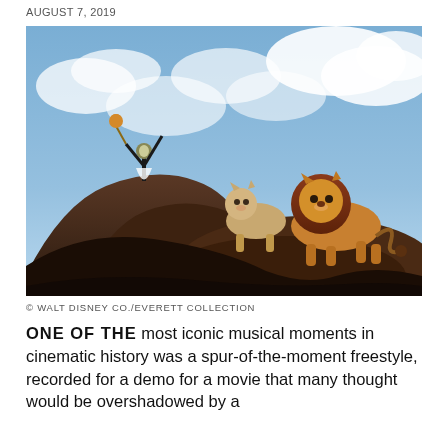AUGUST 7, 2019
[Figure (photo): Scene from The Lion King animated film showing Rafiki holding Simba aloft on Pride Rock, with Nala and adult Simba standing nearby against a blue cloudy sky.]
© WALT DISNEY CO./EVERETT COLLECTION
ONE OF THE most iconic musical moments in cinematic history was a spur-of-the-moment freestyle, recorded for a demo for a movie that many thought would be overshadowed by a